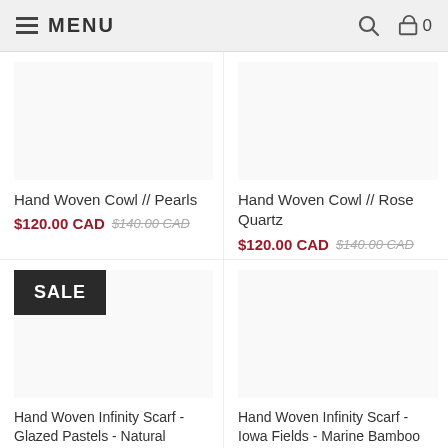MENU
Hand Woven Cowl // Pearls
$120.00 CAD $140.00 CAD
Hand Woven Cowl // Rose Quartz
$120.00 CAD $140.00 CAD
[Figure (other): SALE badge on product image area]
Hand Woven Infinity Scarf - Glazed Pastels - Natural Bamboo Weft - Plain Weave Sold Out
Hand Woven Infinity Scarf - Iowa Fields - Marine Bamboo Weft - Plain Weave $140.00 CAD